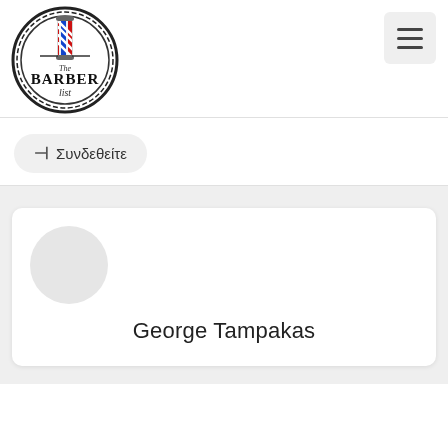[Figure (logo): The Barber List logo — circular badge with barber pole icon and text 'The BARBER list']
[Figure (other): Hamburger menu button icon (three horizontal lines) on light gray square background]
⊣ Συνδεθείτε
George Tampakas